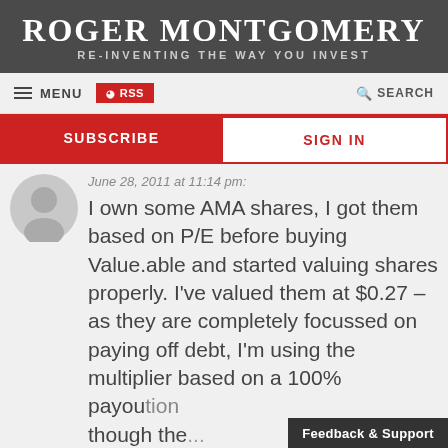ROGER MONTGOMERY
RE-INVENTING THE WAY YOU INVEST
MENU   RSS   SEARCH
SUBSCRIBE   SIGN IN
June 28, 2011 at 11:14 pm:
I own some AMA shares, I got them based on P/E before buying Value.able and started valuing shares properly. I've valued them at $0.27 – as they are completely focussed on paying off debt, I'm using the multiplier based on a 100% payou... though the...
Feedback & Support